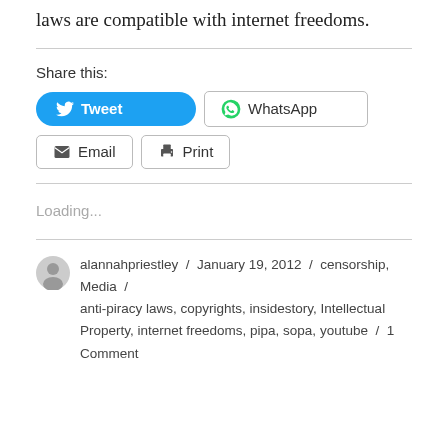Sanchez and Andreas Mundt discuss whether such laws are compatible with internet freedoms.
Share this:
[Figure (other): Share buttons: Tweet (Twitter, blue), WhatsApp (outlined), Email (outlined), Print (outlined)]
Loading...
alannahpriestley / January 19, 2012 / censorship, Media / anti-piracy laws, copyrights, insidestory, Intellectual Property, internet freedoms, pipa, sopa, youtube / 1 Comment